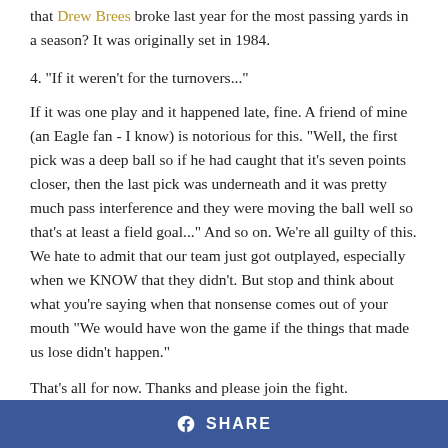that Drew Brees broke last year for the most passing yards in a season? It was originally set in 1984.
4. "If it weren't for the turnovers..."
If it was one play and it happened late, fine. A friend of mine (an Eagle fan - I know) is notorious for this. "Well, the first pick was a deep ball so if he had caught that it's seven points closer, then the last pick was underneath and it was pretty much pass interference and they were moving the ball well so that's at least a field goal..." And so on. We're all guilty of this. We hate to admit that our team just got outplayed, especially when we KNOW that they didn't. But stop and think about what you're saying when that nonsense comes out of your mouth "We would have won the game if the things that made us lose didn't happen."
That's all for now. Thanks and please join the fight.
SHARE